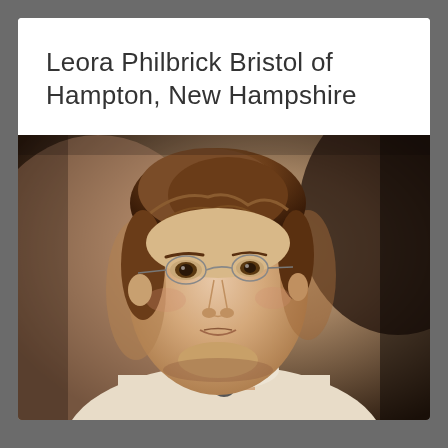Leora Philbrick Bristol of Hampton, New Hampshire
[Figure (photo): Vintage colorized portrait photograph of a young woman with brown upswept hair, small round wire-rimmed glasses, wearing a light-colored high-necked blouse with a brooch at the collar. The background is muted brown/dark tones typical of early 20th century studio photography.]